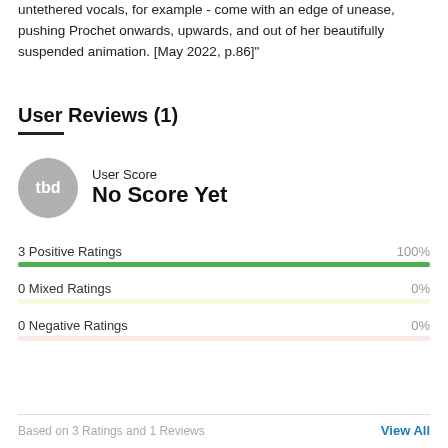"The best moments - Where The Water Clears The Illusion's untethered vocals, for example - come with an edge of unease, pushing Prochet onwards, upwards, and out of her beautifully suspended animation. [May 2022, p.86]"
User Reviews (1)
[Figure (infographic): User Score badge showing 'tbd' circle with label 'User Score' and value 'No Score Yet']
3 Positive Ratings 100%
0 Mixed Ratings 0%
0 Negative Ratings 0%
Based on 3 Ratings and 1 Reviews   View All